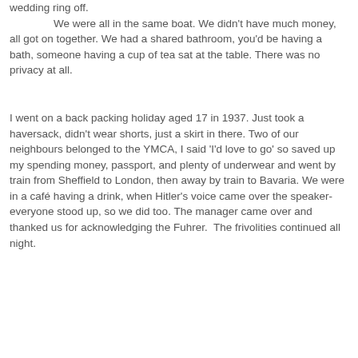wedding ring off.
            We were all in the same boat. We didn't have much money, all got on together. We had a shared bathroom, you'd be having a bath, someone having a cup of tea sat at the table. There was no privacy at all.
I went on a back packing holiday aged 17 in 1937. Just took a haversack, didn't wear shorts, just a skirt in there. Two of our neighbours belonged to the YMCA, I said 'I'd love to go' so saved up my spending money, passport, and plenty of underwear and went by train from Sheffield to London, then away by train to Bavaria. We were in a café having a drink, when Hitler's voice came over the speaker- everyone stood up, so we did too. The manager came over and thanked us for acknowledging the Fuhrer.  The frivolities continued all night.